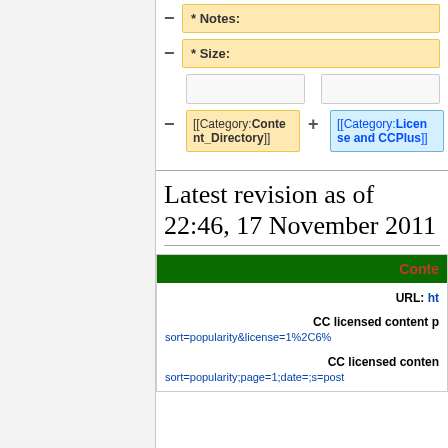[Figure (screenshot): Wiki diff view showing removed field '* Notes:' with minus sign, removed field '* Size:' with minus sign, two empty cells, and category tags: [[Category:Content_Directory]] (removed, yellow) and [[Category:License and CCPlus]] (added, blue)]
Latest revision as of 22:46, 17 November 2011
URL: ht
CC licensed content p sort=popularity&license=1%2C6%
CC licensed conten sort=popularity;page=1;date=;s=post